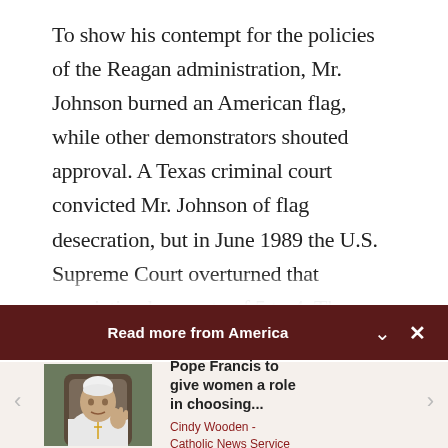To show his contempt for the policies of the Reagan administration, Mr. Johnson burned an American flag, while other demonstrators shouted approval. A Texas criminal court convicted Mr. Johnson of flag desecration, but in June 1989 the U.S. Supreme Court overturned that conviction by a vote of 5 to 4. The court ruled that burning a flag during a political
Read more from America
[Figure (photo): Photo of Pope Francis in white vestments, gesturing with hand raised]
Pope Francis to give women a role in choosing... Cindy Wooden - Catholic News Service